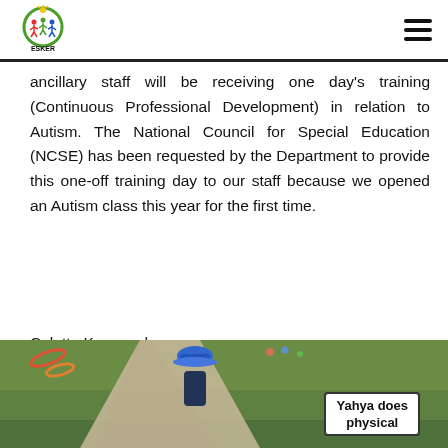Educate Together National School ESKER
ancillary staff will be receiving one day's training (Continuous Professional Development) in relation to Autism. The National Council for Special Education (NCSE) has been requested by the Department to provide this one-off training day to our staff because we opened an Autism class this year for the first time.
Colette Kavanagh
Principal
[Figure (photo): Outdoor photo of a school playground path on grass, with a child wearing a blue hat visible in the lower portion. A sign reads 'Yahya does physical'.]